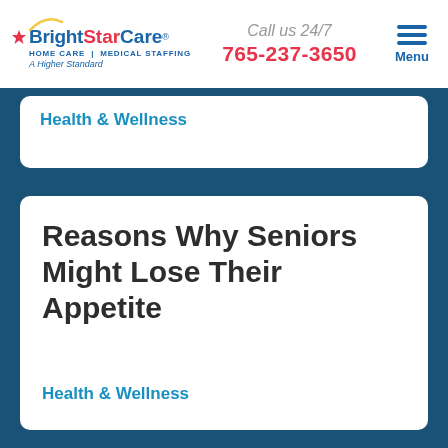BrightStar Care HOME CARE | MEDICAL STAFFING A Higher Standard | Call us 24/7 | 765-237-3650 | Menu
Health & Wellness
Reasons Why Seniors Might Lose Their Appetite
Health & Wellness